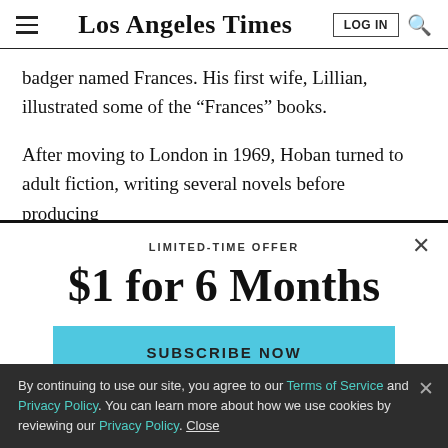Los Angeles Times
badger named Frances. His first wife, Lillian, illustrated some of the “Frances” books.
After moving to London in 1969, Hoban turned to adult fiction, writing several novels before producing
LIMITED-TIME OFFER
$1 for 6 Months
SUBSCRIBE NOW
By continuing to use our site, you agree to our Terms of Service and Privacy Policy. You can learn more about how we use cookies by reviewing our Privacy Policy. Close